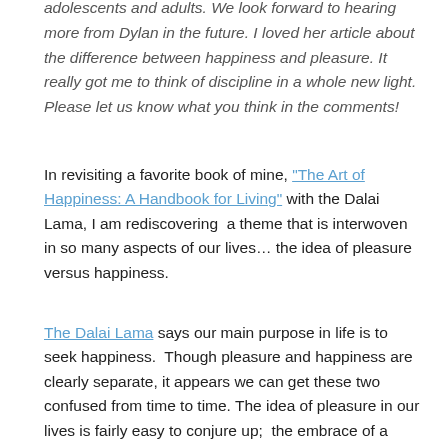adolescents and adults. We look forward to hearing more from Dylan in the future. I loved her article about the difference between happiness and pleasure. It really got me to think of discipline in a whole new light. Please let us know what you think in the comments!
In revisiting a favorite book of mine, "The Art of Happiness: A Handbook for Living" with the Dalai Lama, I am rediscovering  a theme that is interwoven in so many aspects of our lives… the idea of pleasure versus happiness.
The Dalai Lama says our main purpose in life is to seek happiness.  Though pleasure and happiness are clearly separate, it appears we can get these two confused from time to time. The idea of pleasure in our lives is fairly easy to conjure up;  the embrace of a loved one, a sunny Saturday afternoon, a beach